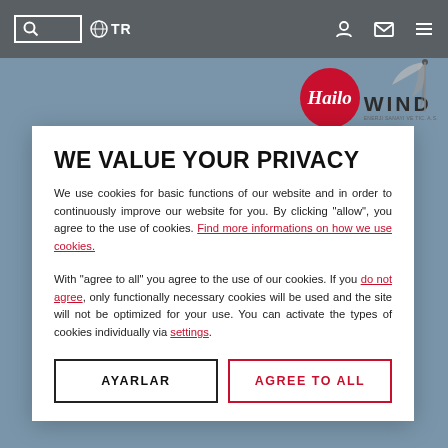TR
[Figure (logo): Hailo red circle logo and WIND text logo with wind turbine blade]
WE VALUE YOUR PRIVACY
We use cookies for basic functions of our website and in order to continuously improve our website for you. By clicking "allow", you agree to the use of cookies. Find more informations on how we use cookies.
With "agree to all" you agree to the use of our cookies. If you do not agree, only functionally necessary cookies will be used and the site will not be optimized for your use. You can activate the types of cookies individually via settings.
AYARLAR | AGREE TO ALL